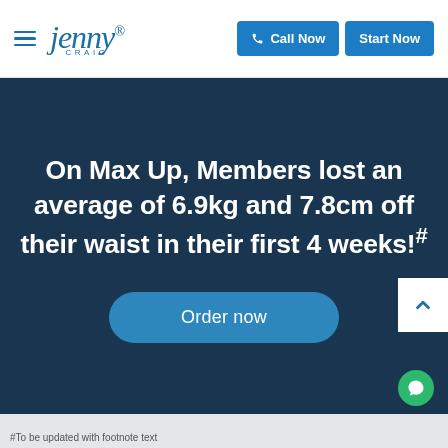[Figure (logo): Jenny Craig logo with hamburger menu icon on the left side of the navigation header]
[Figure (screenshot): Navigation header with Call Now and Start Now blue buttons on the right]
On Max Up, Members lost an average of 6.9kg and 7.8cm off their waist in their first 4 weeks!#
[Figure (other): Order now rounded blue button]
#To be updated with footnote text